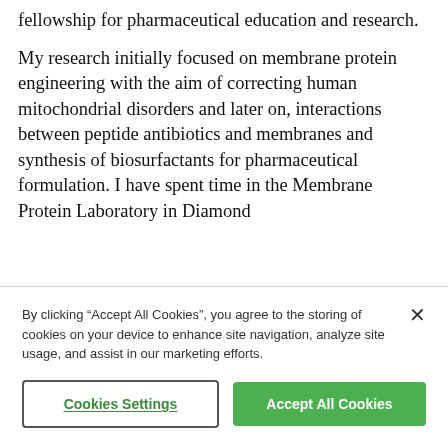fellowship for pharmaceutical education and research.
My research initially focused on membrane protein engineering with the aim of correcting human mitochondrial disorders and later on, interactions between peptide antibiotics and membranes and synthesis of biosurfactants for pharmaceutical formulation. I have spent time in the Membrane Protein Laboratory in Diamond
By clicking “Accept All Cookies”, you agree to the storing of cookies on your device to enhance site navigation, analyze site usage, and assist in our marketing efforts.